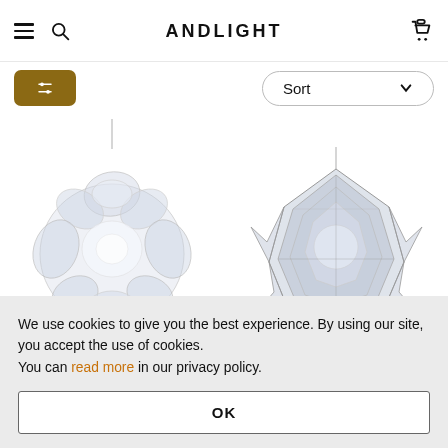ANDLIGHT
[Figure (screenshot): Filter button (gold/dark yellow with sliders icon) and Sort dropdown button in toolbar row]
[Figure (photo): Crystal/clear globe pendant chandelier light fixture, price 1.699 €]
[Figure (photo): Geometric faceted pendant light in chrome/silver, price 1.278 €]
1.699 €
1.278 €
We use cookies to give you the best experience. By using our site, you accept the use of cookies. You can read more in our privacy policy.
OK